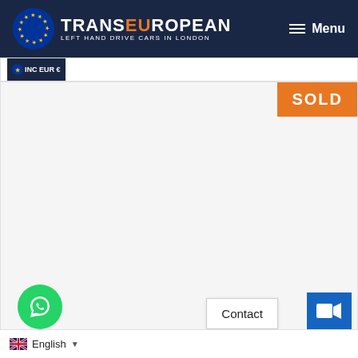[Figure (logo): TransEuropean logo — EU flag stars on dark navy background, company name TRANSEUROPEAN with EU in orange, tagline LEFT HAND DRIVE CARS IN LONDON]
Menu
€14,934 INC EUR €
[Figure (photo): Large vehicle listing image area, mostly white/blank with SOLD badge in orange top right]
SOLD
[Figure (illustration): Green WhatsApp floating button with speech bubble icon, bottom left]
Contact
[Figure (illustration): Blue video camera button, bottom right]
English